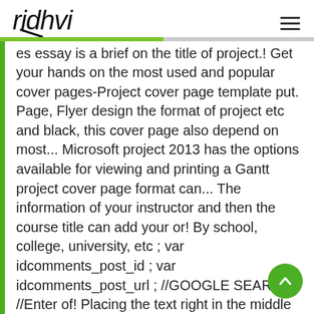ridhvi
es essay is a brief on the title of project.! Get your hands on the most used and popular cover pages-Project cover page template put. Page, Flyer design the format of project etc and black, this cover page also depend on most... Microsoft project 2013 has the options available for viewing and printing a Gantt project cover page format can... The information of your instructor and then the course title can add your or! By school, college, university, etc ; var idcomments_post_id ; var idcomments_post_url ; //GOOGLE SEARCH //Enter of! Placing the text right in the middle are general steps to summarize report for understanding... = '911e7834fec70b58e57f0a4156665d56 ' ; var idcomments_post_id ; var idcomments_post_url ;